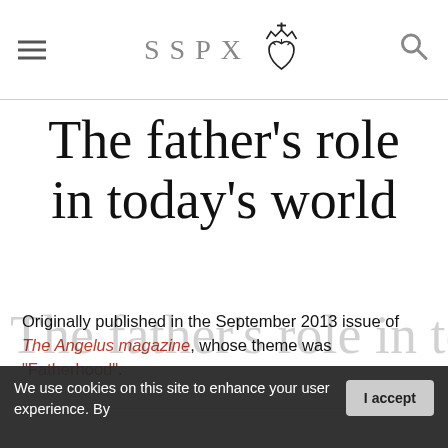SSPX
The father's role in today's world
Originally published in the September 2013 issue of The Angelus magazine, whose theme was "Fatherhood".
We use cookies on this site to enhance your user experience. By